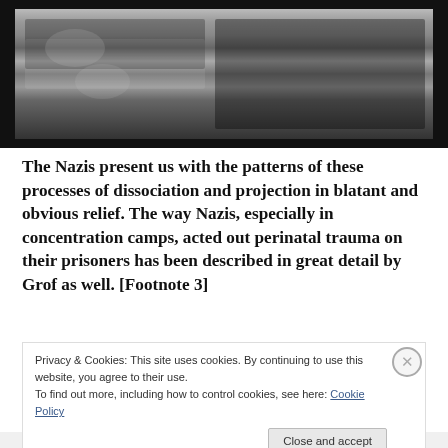[Figure (photo): Black and white historical photograph showing people in what appear to be bunk beds or shelving, with other figures and structures visible.]
The Nazis present us with the patterns of these processes of dissociation and projection in blatant and obvious relief. The way Nazis, especially in concentration camps, acted out perinatal trauma on their prisoners has been described in great detail by Grof as well. [Footnote 3]
Privacy & Cookies: This site uses cookies. By continuing to use this website, you agree to their use.
To find out more, including how to control cookies, see here: Cookie Policy